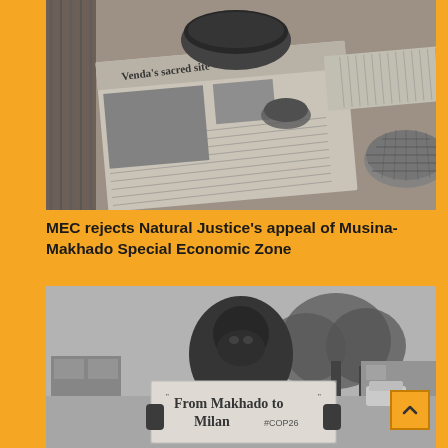[Figure (photo): Black and white photograph of a newspaper article titled 'Venda's sacred site' with a headline 'Battle to salvage the...' placed on sandy ground with traditional woven baskets and a bowl visible]
MEC rejects Natural Justice’s appeal of Musina-Makhado Special Economic Zone
[Figure (photo): Black and white photograph of a person wearing a face mask/head covering holding a sign that reads 'From Makhado to Milan #COP26', standing outside with trees and buildings in the background]